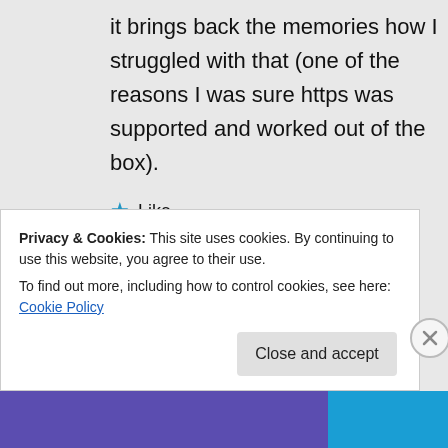it brings back the memories how I struggled with that (one of the reasons I was sure https was supported and worked out of the box).
★ Like
Privacy & Cookies: This site uses cookies. By continuing to use this website, you agree to their use.
To find out more, including how to control cookies, see here: Cookie Policy
Close and accept